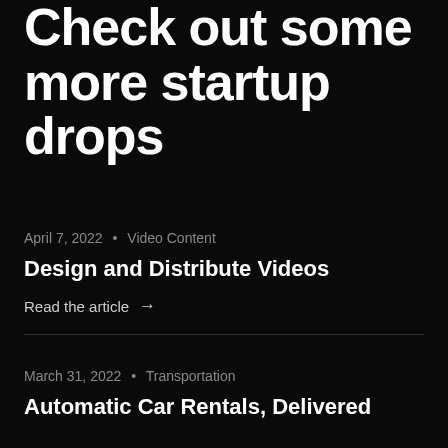Check out some more startup drops
April 7, 2022 • Video Content
Design and Distribute Videos
Read the article →
March 31, 2022 • Transportation
Automatic Car Rentals, Delivered